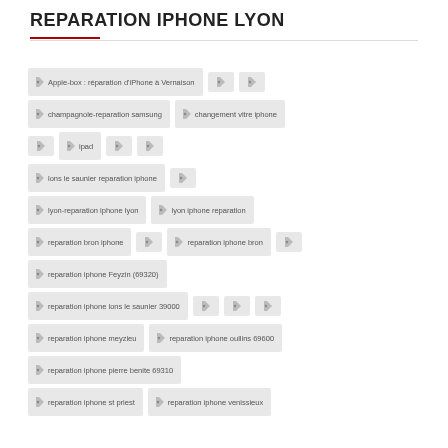REPARATION IPHONE LYON
Apple-box : réparation d'iPhone à Vernaison
champagnole-reparation samsung
changement vitre iphone
ipad
lons le saunier reparation iphone
lyon-reparation iphone lyon
lyon iphone reparation
reparation bron iphone
reparation iphone bron
reparation iphone Feyzin (69320)
reparation iphone lons le saunier 39000
reparation iphone meyzieu
reparation iphone oullins 69600
reparation iphone pierre benite 69310
reparation iphone st priest
reparation iphone venissieux